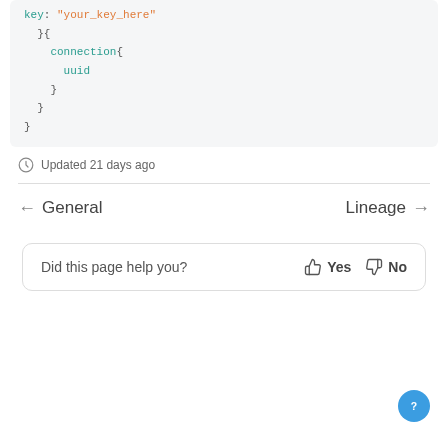[Figure (screenshot): Code block showing JSON/config snippet with keys: key, connection, uuid enclosed in braces]
Updated 21 days ago
← General    Lineage →
Did this page help you?  👍 Yes  👎 No